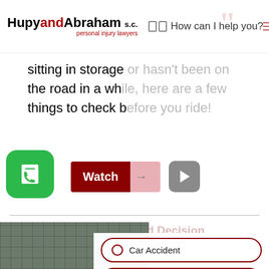HupyandAbraham s.c. personal injury lawyers | How can I help you?
sitting in storage or hasn't been on the road in a while, here are a few things to check before you ride!
[Figure (screenshot): Watch button (dark red and pink) with arrow, and a grey play button circle]
Split-Second Decision Motorcycle Accident Results In $44,00
[Figure (infographic): Dropdown menu overlay with options: Car Accident, Accidents (All kinds), Police Abuse]
[Figure (photo): Bottom photo showing a grid/fence background]